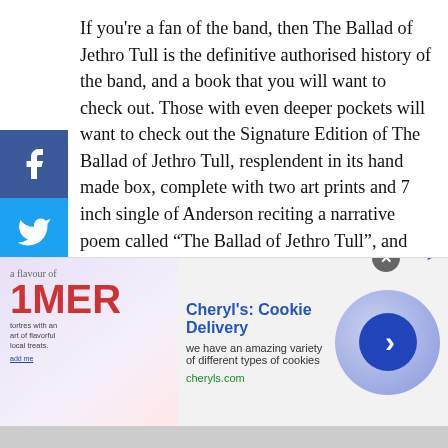If you're a fan of the band, then The Ballad of Jethro Tull is the definitive authorised history of the band, and a book that you will want to check out. Those with even deeper pockets will want to check out the Signature Edition of The Ballad of Jethro Tull, resplendent in its hand made box, complete with two art prints and 7 inch single of Anderson reciting a narrative poem called “The Ballad of Jethro Tull”, and Walter Scott’s “Marmion” on the b-side. Even in the book’s “classic” format, The Ballad of Jethro Tull is a beautifully presented, laid out and stunning photographic history of one of the most visually interesting bands in rock history.
allad of Jethro Tull can be ordered from
[Figure (screenshot): Advertisement banner for Cheryl's Cookie Delivery showing brand image on left, ad text in center, and circular navigation button on right. Ad title: Cheryl's: Cookie Delivery. Description: we have an amazing variety of different types of cookies. URL: cheryls.com]